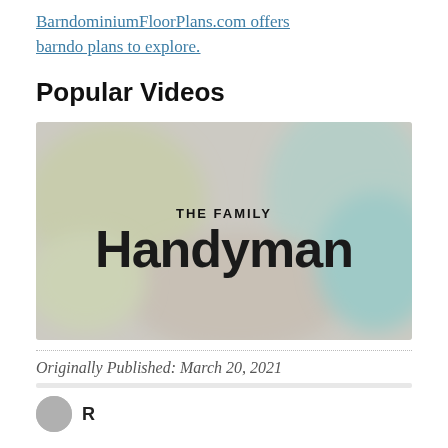BarndominiumFloorPlans.com offers barndo plans to explore.
Popular Videos
[Figure (photo): The Family Handyman logo overlaid on a blurred colorful background thumbnail for a video]
Originally Published: March 20, 2021
R...